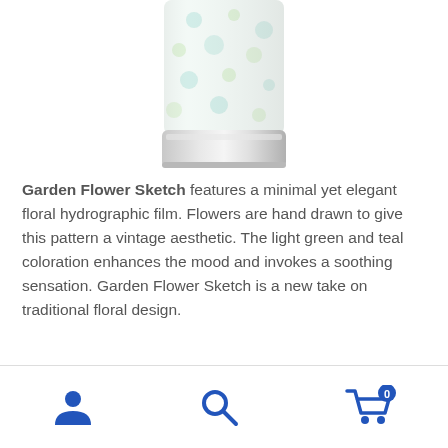[Figure (photo): Product tumbler cup with garden flower sketch hydrographic film pattern, partially visible at top of page]
Garden Flower Sketch features a minimal yet elegant floral hydrographic film. Flowers are hand drawn to give this pattern a vintage aesthetic. The light green and teal coloration enhances the mood and invokes a soothing sensation. Garden Flower Sketch is a new take on traditional floral design.
[Figure (photo): Garden flower sketch pattern showing teal and light green hand-drawn flowers on white background]
Navigation bar with user account icon, search icon, and shopping cart icon showing 0 items